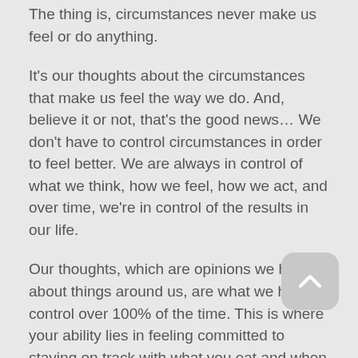The thing is, circumstances never make us feel or do anything.
It's our thoughts about the circumstances that make us feel the way we do. And, believe it or not, that's the good news… We don't have to control circumstances in order to feel better. We are always in control of what we think, how we feel, how we act, and over time, we're in control of the results in our life.
Our thoughts, which are opinions we have about things around us, are what we have control over 100% of the time. This is where your ability lies in feeling committed to staying on track with what you eat and when you exercise.
The thing is, just thinking about eating better and